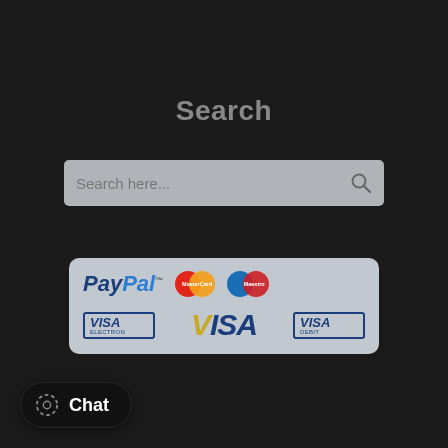Search
[Figure (screenshot): Search input bar with placeholder text 'Search here...' and a magnifier icon, on a grey background]
[Figure (logo): Payment methods card showing PayPal, MasterCard, Maestro logos in top row, and Visa Electron, VISA, Visa Debit logos in bottom row]
Website
Home
MyAccount
[Figure (screenshot): Chat button widget at bottom left with circular loading icon and 'Chat' label on dark background]